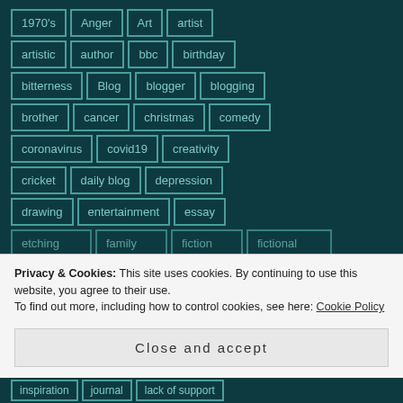[Figure (other): Tag cloud on dark teal background showing blog post tags in bordered boxes: 1970's, Anger, Art, artist, artistic, author, bbc, birthday, bitterness, Blog, blogger, blogging, brother, cancer, christmas, comedy, coronavirus, covid19, creativity, cricket, daily blog, depression, drawing, entertainment, essay, etching (partial), family (partial), fiction (partial), fictional (partial), inspiration (partial), journal (partial), lack of support (partial)]
Privacy & Cookies: This site uses cookies. By continuing to use this website, you agree to their use.
To find out more, including how to control cookies, see here: Cookie Policy
Close and accept